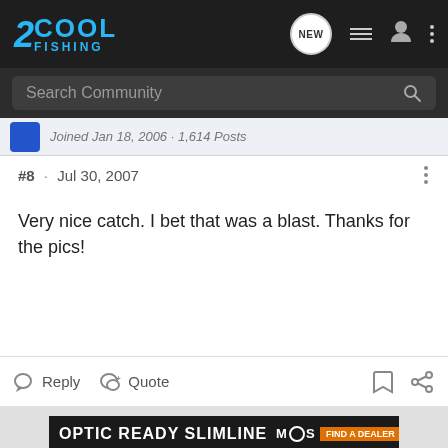2COOL FISHING
Search Community
Joined Jan 18, 2006 · 1,614 Posts
#8 · Jul 30, 2007
Very nice catch. I bet that was a blast. Thanks for the pics!
Reply  Quote
[Figure (photo): Advertisement banner for Glock Optic Ready Slimline pistol. Shows 'OPTIC READY SLIMLINE' text, MOS branding, 'FIND A DEALER' button, and Glock Perfection logo.]